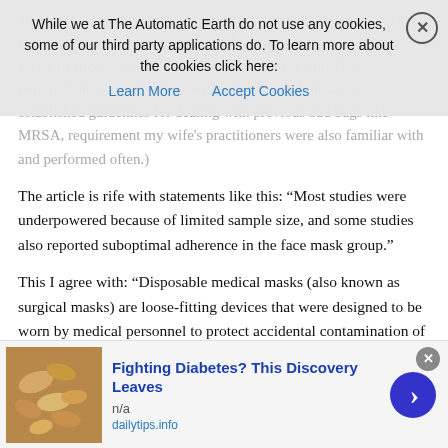guarantees with this stuff, and the legal wrecking ball could swing both ways in subsequent litigation. In such cases, bureaucracies prefer to stick with silence than stick their neck out. The requirement was reduced to 'wear a mask' and follow pre-established guidelines for dealing with previous bad bugs like MRSA, requirement my wife's practitioners were also familiar with and performed often.)
The article is rife with statements like this: “Most studies were underpowered because of limited sample size, and some studies also reported suboptimal adherence in the face mask group.”
This I agree with: “Disposable medical masks (also known as surgical masks) are loose-fitting devices that were designed to be worn by medical personnel to protect accidental contamination of patient wounds, and to protect the wearer against splashes or sprays of bodily fluids (36). There is limited evidence for their effectiveness in preventing influenza virus transmission either when worn by the infected person for source control or when worn by uninfected persons to reduce exposure. Our systematic review found
[Figure (screenshot): Cookie consent banner overlay: 'While we at The Automatic Earth do not use any cookies, some of our third party applications do. To learn more about the cookies click here: [Learn More] [Accept Cookies]' with close X button]
[Figure (infographic): Advertisement banner at bottom: image of cashews/nuts on left, text 'Fighting Diabetes? This Discovery Leaves' in bold blue, 'n/a' below, 'dailytips.info' in blue, blue circle arrow button on right, close X button top right]